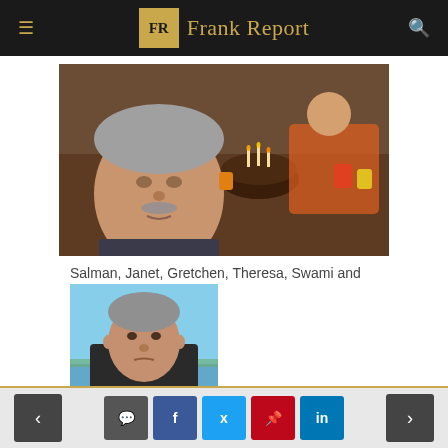Frank Report
[Figure (photo): Group photo at a restaurant table with a birthday cake with candles; man with grey hair and mustache in foreground]
Salman, Janet, Gretchen, Theresa, Swami and Steve.
[Figure (photo): Portrait of an older man with short grey hair outdoors near water]
Navigation and social share buttons: previous, comment, Facebook, Twitter, Pinterest, LinkedIn, next